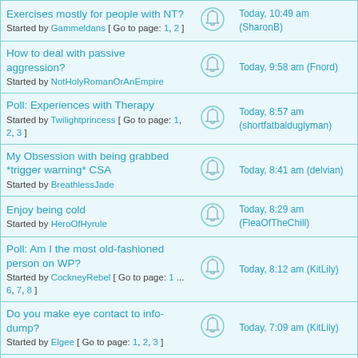| Topic |  | Last Post |
| --- | --- | --- |
| Exercises mostly for people with NT?
Started by Gammeldans [ Go to page: 1, 2 ] |  | Today, 10:49 am (SharonB) |
| How to deal with passive aggression?
Started by NotHolyRomanOrAnEmpire |  | Today, 9:58 am (Fnord) |
| Poll: Experiences with Therapy
Started by Twilightprincess [ Go to page: 1, 2, 3 ] |  | Today, 8:57 am (shortfatbalduglyman) |
| My Obsession with being grabbed *trigger warning* CSA
Started by BreathlessJade |  | Today, 8:41 am (delvian) |
| Enjoy being cold
Started by HeroOfHyrule |  | Today, 8:29 am (FleaOfTheChill) |
| Poll: Am I the most old-fashioned person on WP?
Started by CockneyRebel [ Go to page: 1 ... 6, 7, 8 ] |  | Today, 8:12 am (KitLily) |
| Do you make eye contact to info-dump?
Started by Elgee [ Go to page: 1, 2, 3 ] |  | Today, 7:09 am (KitLily) |
| Do we have 'more autistic' and 'less autistic' days?
Started by KitLily [ Go to page: 1, 2 ] |  | Today, 7:04 am (KitLily) |
| ASD adults and aggression - |  |  |